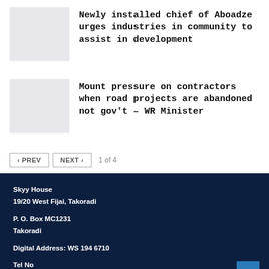Newly installed chief of Aboadze urges industries in community to assist in development
Mount pressure on contractors when road projects are abandoned not gov't – WR Minister
‹ PREV   NEXT ›   1 of 4
Skyy House
19/20 West Fijai, Takoradi

P. O. Box MC1231
Takoradi

Digital Address: WS 194 6710

Tel No
+233 550003666/777